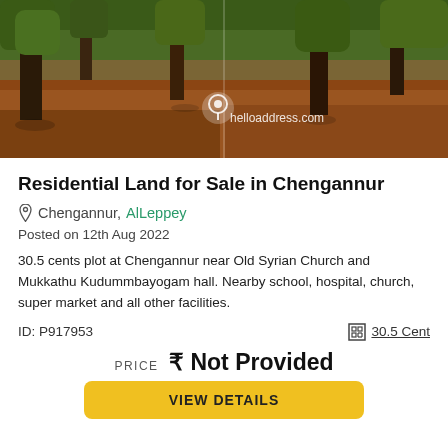[Figure (photo): Outdoor photo of a land plot with trees and red soil, with helloaddress.com watermark]
Residential Land for Sale in Chengannur
Chengannur, Alleppey
Posted on 12th Aug 2022
30.5 cents plot at Chengannur near Old Syrian Church and Mukkathu Kudummbayogam hall. Nearby school, hospital, church, super market and all other facilities.
ID: P917953
30.5 Cent
PRICE ₹ Not Provided
VIEW DETAILS